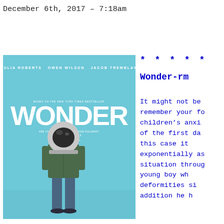December 6th, 2017 — 7:18am
[Figure (photo): Movie poster for 'Wonder' featuring a boy in a space helmet wearing a green hoodie and jeans, standing against a light blue background. Text reads: JULIA ROBERTS  OWEN WILSON  JACOB TREMBLAY, BASED ON THE NEW YORK TIMES BESTSELLER, WONDER, ARE YOU READY TO MEET AUGGIE PULLMAN? NOVEMBER 17]
* * * * *
Wonder-rm
It might not be remember your fo children’s anxi of the first da this case it exponentially as situation throug young boy wh deformities si addition he h